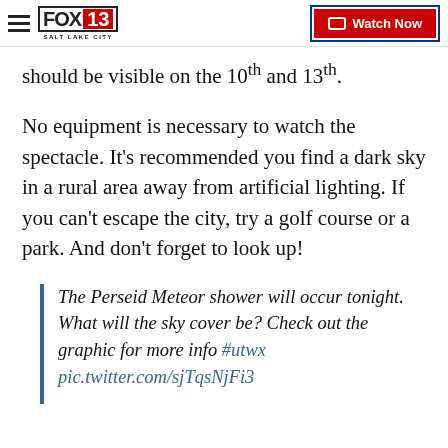FOX 13 SALT LAKE CITY | Watch Now
should be visible on the 10th and 13th.
No equipment is necessary to watch the spectacle. It's recommended you find a dark sky in a rural area away from artificial lighting. If you can't escape the city, try a golf course or a park. And don't forget to look up!
The Perseid Meteor shower will occur tonight. What will the sky cover be? Check out the graphic for more info #utwx pic.twitter.com/sjTqsNjFi3